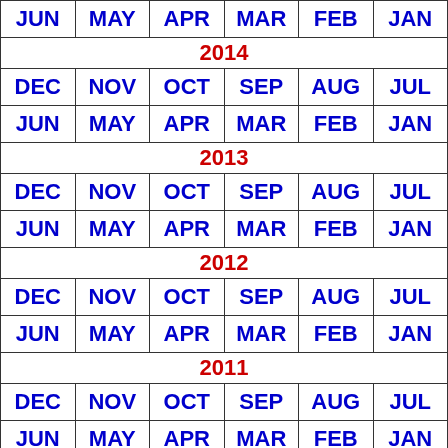| col1 | col2 | col3 | col4 | col5 | col6 |
| --- | --- | --- | --- | --- | --- |
| JUN | MAY | APR | MAR | FEB | JAN |
| 2014 | 2014 | 2014 | 2014 | 2014 | 2014 |
| DEC | NOV | OCT | SEP | AUG | JUL |
| JUN | MAY | APR | MAR | FEB | JAN |
| 2013 | 2013 | 2013 | 2013 | 2013 | 2013 |
| DEC | NOV | OCT | SEP | AUG | JUL |
| JUN | MAY | APR | MAR | FEB | JAN |
| 2012 | 2012 | 2012 | 2012 | 2012 | 2012 |
| DEC | NOV | OCT | SEP | AUG | JUL |
| JUN | MAY | APR | MAR | FEB | JAN |
| 2011 | 2011 | 2011 | 2011 | 2011 | 2011 |
| DEC | NOV | OCT | SEP | AUG | JUL |
| JUN | MAY | APR | MAR | FEB | JAN |
| 2010 | 2010 | 2010 | 2010 | 2010 | 2010 |
| DEC | NOV | OCT | SEP | AUG | JUL |
| JUN | MAY | APR | MAR | FEB | JAN |
| 2009 | 2009 | 2009 | 2009 | 2009 | 2009 |
| DEC | NOV | OCT | SEP | AUG | JUL |
| JUN | MAY | APR | MAR | FEB | JAN |
| 2008 | 2008 | 2008 | 2008 | 2008 | 2008 |
| DEC | NOV | OCT | SEP | AUG | JUL |